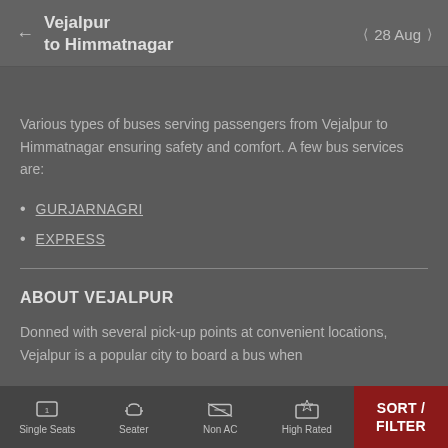Vejalpur to Himmatnagar  ← | 28 Aug ›
Various types of buses serving passengers from Vejalpur to Himmatnagar ensuring safety and comfort. A few bus services are:
GURJARNAGRI
EXPRESS
ABOUT VEJALPUR
Donned with several pick-up points at convenient locations, Vejalpur is a popular city to board a bus when
Single Seats  Seater  Non AC  High Rated  SORT / FILTER